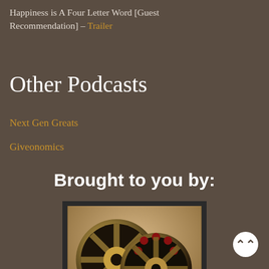Happiness is A Four Letter Word [Guest Recommendation] – Trailer
Other Podcasts
Next Gen Greats
Giveonomics
Brought to you by:
[Figure (photo): Film reel image with a dark border, showing two large metallic film reels against a sepia-toned background with hills.]